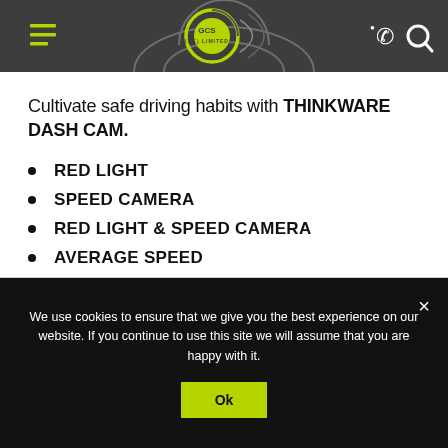[Figure (logo): GCS (UK) Limited company logo with circular graphic and green accent on dark grey header bar, with hamburger menu on the left and phone/search icons on the right]
Cultivate safe driving habits with THINKWARE DASH CAM.
RED LIGHT
SPEED CAMERA
RED LIGHT & SPEED CAMERA
AVERAGE SPEED
MOBILE ZONE
We use cookies to ensure that we give you the best experience on our website. If you continue to use this site we will assume that you are happy with it.